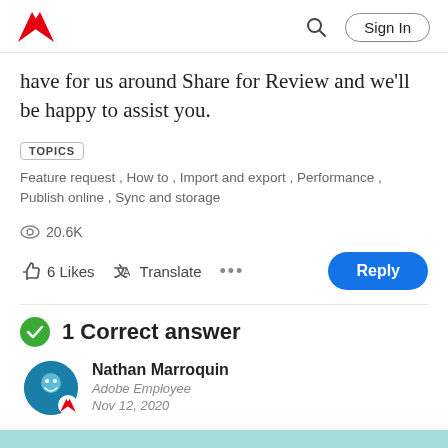Adobe | Sign In
have for us around Share for Review and we'll be happy to assist you.
TOPICS
Feature request , How to , Import and export , Performance , Publish online , Sync and storage
20.6K
6 Likes   Translate   ···   Reply
1 Correct answer
Nathan Marroquin
Adobe Employee
Nov 12, 2020